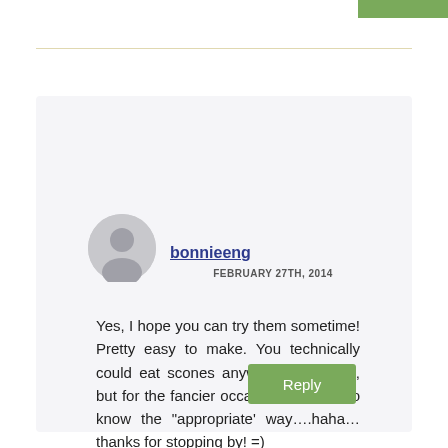bonnieeng
FEBRUARY 27TH, 2014
Yes, I hope you can try them sometime! Pretty easy to make. You technically could eat scones anyway you please, but for the fancier occasions it’s nice to know the “appropriate’ way…haha…thanks for stopping by! =)
Reply